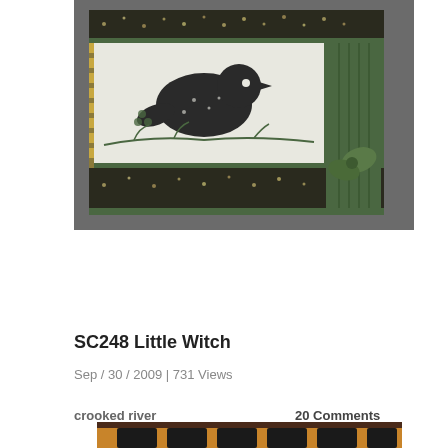[Figure (photo): A handmade greeting card with a bird stamped in black on white, surrounded by green botanical elements, patterned dark floral paper, green ribbon and decorative elements on a gray card base.]
SC248 Little Witch
Sep / 30 / 2009 | 731 Views
crooked river
20 Comments
[Figure (photo): Partial view of a second photo at the bottom of the page, showing an orange background with dark objects.]